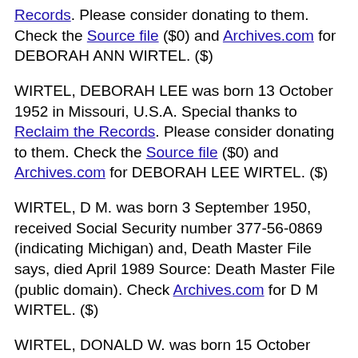Records. Please consider donating to them. Check the Source file ($0) and Archives.com for DEBORAH ANN WIRTEL. ($)
WIRTEL, DEBORAH LEE was born 13 October 1952 in Missouri, U.S.A. Special thanks to Reclaim the Records. Please consider donating to them. Check the Source file ($0) and Archives.com for DEBORAH LEE WIRTEL. ($)
WIRTEL, D M. was born 3 September 1950, received Social Security number 377-56-0869 (indicating Michigan) and, Death Master File says, died April 1989 Source: Death Master File (public domain). Check Archives.com for D M WIRTEL. ($)
WIRTEL, DONALD W. was born 15 October 1936, received Social Security number 500-34-1296 (indicating Missouri) and, Death Master File says, died 22 January 2003 Source: Death Master File (public domain). Check